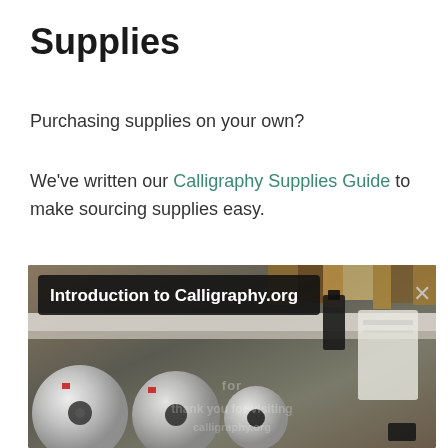Supplies
Purchasing supplies on your own?
We've written our Calligraphy Supplies Guide to make sourcing supplies easy.
[Figure (screenshot): A photograph of calligraphy supplies — rolls of paper and various stationery items in a drawer or organizer. Overlaid with a dark banner reading 'Introduction to Calligraphy.org' and an X close button in the top-right corner.]